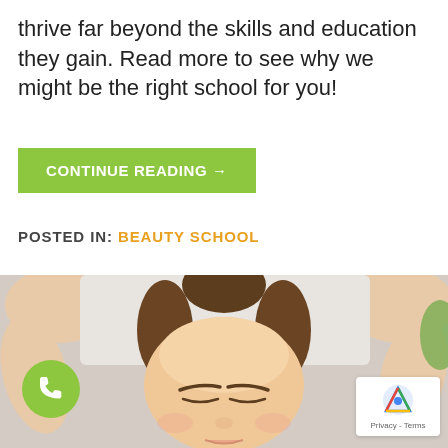thrive far beyond the skills and education they gain. Read more to see why we might be the right school for you!
CONTINUE READING →
POSTED IN: BEAUTY SCHOOL
[Figure (photo): Woman lying on spa table with arms raised, eyes closed, receiving facial treatment, viewed from above showing face and hair in a bun]